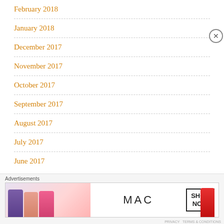February 2018
January 2018
December 2017
November 2017
October 2017
September 2017
August 2017
July 2017
June 2017
[Figure (illustration): MAC cosmetics advertisement showing colorful lipsticks with MAC logo and SHOP NOW button]